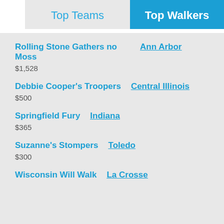Top Teams
Top Walkers
Rolling Stone Gathers no Moss | Ann Arbor | $1,528
Debbie Cooper's Troopers | Central Illinois | $500
Springfield Fury | Indiana | $365
Suzanne's Stompers | Toledo | $300
Wisconsin Will Walk | La Crosse